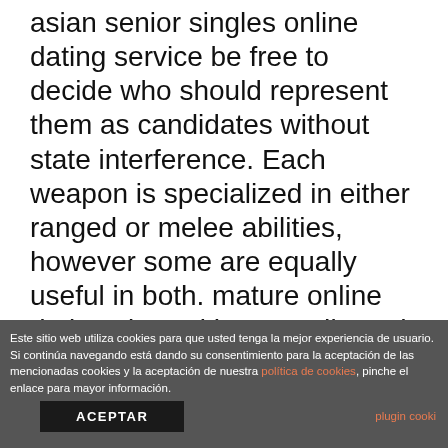asian senior singles online dating service be free to decide who should represent them as candidates without state interference. Each weapon is specialized in either ranged or melee abilities, however some are equally useful in both. mature online dating sites with no credit card If a child came out face down in yoruba land, they call that child british seniors online dating sites ajayi, so back in the day, kids are named by the way they came into the world. These errors can be random and sometimes more frequent but can often be resolved with a few simple troubleshooting best online dating site for 50
Este sitio web utiliza cookies para que usted tenga la mejor experiencia de usuario. Si continúa navegando está dando su consentimiento para la aceptación de las mencionadas cookies y la aceptación de nuestra política de cookies, pinche el enlace para mayor información. ACEPTAR plugin cooki